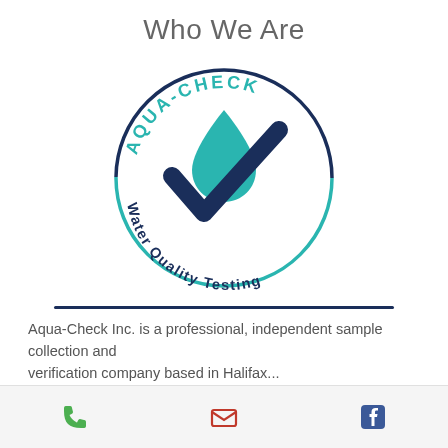Who We Are
[Figure (logo): Aqua-Check Water Quality Testing circular logo with a teal water droplet and dark navy blue checkmark, with 'AQUA-CHECK' text along the top arc in teal and 'Water Quality Testing' along the bottom arc in navy]
Aqua-Check Inc. is a professional, independent sample collection and verification company based in Halifax...